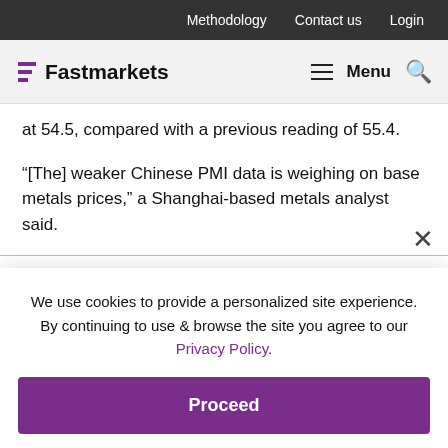Methodology  Contact us  Login
[Figure (logo): Fastmarkets logo with purple stacked bars icon and bold text, plus Menu and search icon on right]
at 54.5, compared with a previous reading of 55.4.
“[The] weaker Chinese PMI data is weighing on base metals prices,” a Shanghai-based metals analyst said.
Meanwhile, with the base metals industry gathered in London for this week’s LME Week proceedings this shou... Z Research.
Moreover, investors are likely to remain cautious this week with a series of important data releases
We use cookies to provide a personalized site experience.
By continuing to use & browse the site you agree to our Privacy Policy.
Proceed